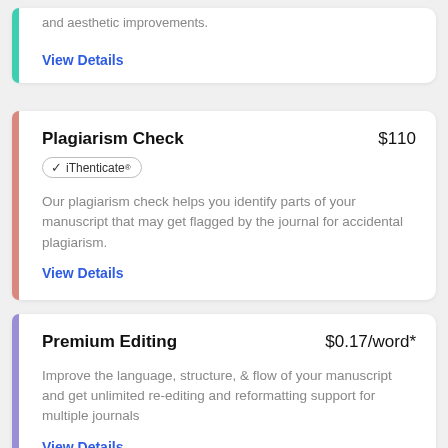and aesthetic improvements.
View Details
Plagiarism Check
$110
✓ iThenticate
Our plagiarism check helps you identify parts of your manuscript that may get flagged by the journal for accidental plagiarism.
View Details
Premium Editing
$0.17/word*
Improve the language, structure, & flow of your manuscript and get unlimited re-editing and reformatting support for multiple journals
View Details